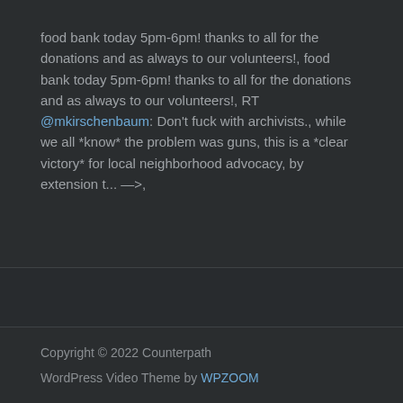food bank today 5pm-6pm! thanks to all for the donations and as always to our volunteers!, food bank today 5pm-6pm! thanks to all for the donations and as always to our volunteers!, RT @mkirschenbaum: Don't fuck with archivists., while we all *know* the problem was guns, this is a *clear victory* for local neighborhood advocacy, by extension t... —>,
Copyright © 2022 Counterpath
WordPress Video Theme by WPZOOM